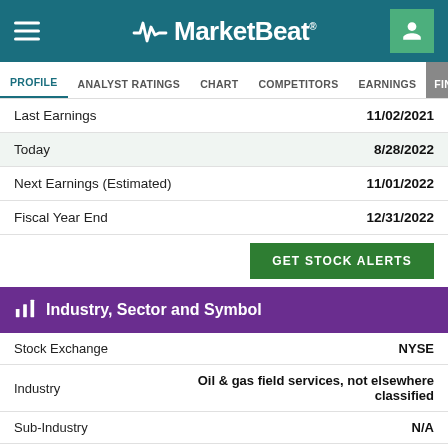MarketBeat
PROFILE  ANALYST RATINGS  CHART  COMPETITORS  EARNINGS  FINANCIALS
|  |  |
| --- | --- |
| Last Earnings | 11/02/2021 |
| Today | 8/28/2022 |
| Next Earnings (Estimated) | 11/01/2022 |
| Fiscal Year End | 12/31/2022 |
GET STOCK ALERTS
Industry, Sector and Symbol
|  |  |
| --- | --- |
| Stock Exchange | NYSE |
| Industry | Oil & gas field services, not elsewhere classified |
| Sub-Industry | N/A |
| Sector | Oils/Energy |
| Current Symbol | NYSE:WTTR |
| Previous Symbol | NASDAQ:WTTR |
| CUSIP | N/A |